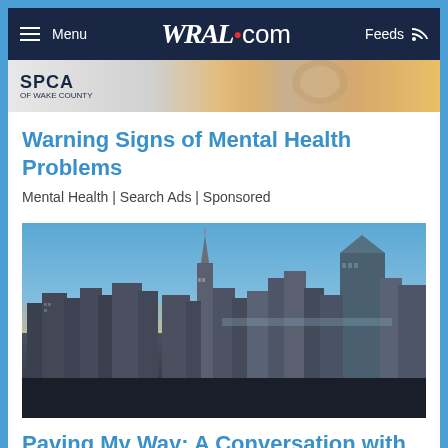Menu | WRAL.com | Feeds
[Figure (photo): SPCA of Wake County advertisement banner with pet image]
Warning Signs of Mental Health Problems
Mental Health | Search Ads | Sponsored
[Figure (photo): Aerial cityscape of New York City at sunset, featuring the Empire State Building and Manhattan skyline with orange and blue sky]
Paving My Way: A Conversation with Bianca Bennett Scott